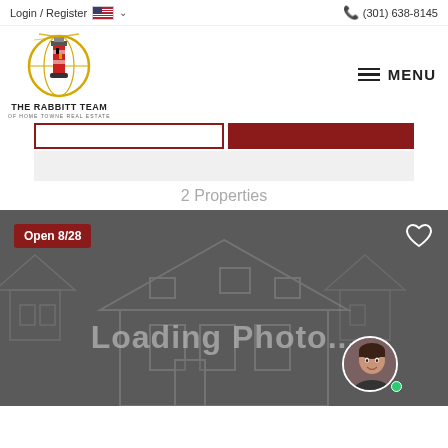Login / Register  (301) 638-8145
[Figure (logo): The Rabbitt Team of Home Towne Real Estate lighthouse logo]
MENU
2 Properties
[Figure (photo): Property listing card with 'Open 8/28' badge, heart/favorite icon, 'Loading Photo...' text, and agent avatar with green online indicator]